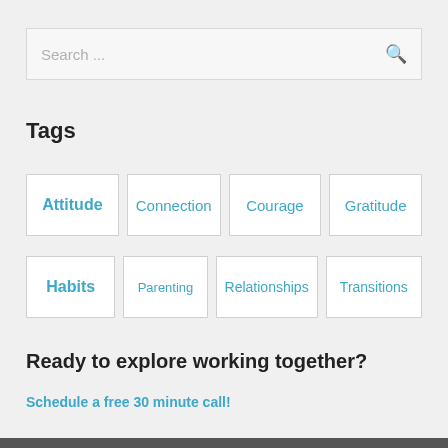[Figure (screenshot): Search input box with placeholder text 'Search ...' and a magnifying glass icon on the right]
Tags
Attitude
Connection
Courage
Gratitude
Habits
Parenting
Relationships
Transitions
Ready to explore working together?
Schedule a free 30 minute call!